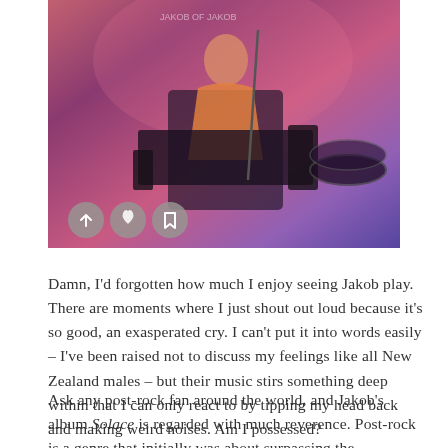[Figure (photo): Concert photo of a musician playing at a drum kit/keyboard setup on a stage lit with pink and purple lights. Three circular social media share icons (share, like, save) appear in the lower left of the photo.]
Damn, I'd forgotten how much I enjoy seeing Jakob play. There are moments where I just shout out loud because it's so good, an exasperated cry. I can't put it into words easily – I've been raised not to discuss my feelings like all New Zealand males – but their music stirs something deep within that I can only react to by tipping my head back and making weird noises. Am I possessed?
Ask any post-rock fan around the world, and Jakob's album Solace is regarded with much reverence. Post-rock is a genre that initially was about surpassing the boundaries of rock…